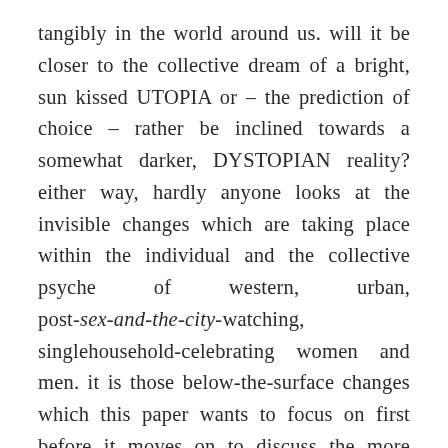tangibly in the world around us. will it be closer to the collective dream of a bright, sun kissed UTOPIA or – the prediction of choice – rather be inclined towards a somewhat darker, DYSTOPIAN reality? either way, hardly anyone looks at the invisible changes which are taking place within the individual and the collective psyche of western, urban, post-sex-and-the-city-watching, singlehousehold-celebrating women and men. it is those below-the-surface changes which this paper wants to focus on first before it moves on to discuss the more obvious visible